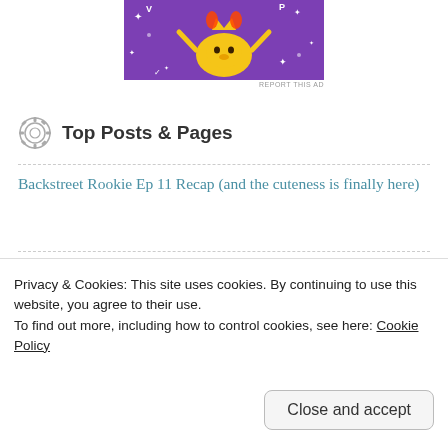[Figure (illustration): Purple banner ad with a cartoon chicken/bird character with arms raised and flames, sparkles, and decorative elements on a purple background]
REPORT THIS AD
Top Posts & Pages
Backstreet Rookie Ep 11 Recap (and the cuteness is finally here)
Backstreet Rookie Ep 10 Recap (and the worst day of Daehyun's life)
Privacy & Cookies: This site uses cookies. By continuing to use this website, you agree to their use.
To find out more, including how to control cookies, see here: Cookie Policy
Close and accept